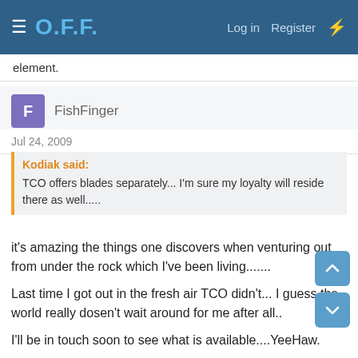O.F.F. — Log in  Register
element.
FishFinger
Jul 24, 2009
Kodiak said:
TCO offers blades separately... I'm sure my loyalty will reside there as well.....
it's amazing the things one discovers when venturing out from under the rock which I've been living.......

Last time I got out in the fresh air TCO didn't... I guess the world really dosen't wait around for me after all..

I'll be in touch soon to see what is available....YeeHaw.